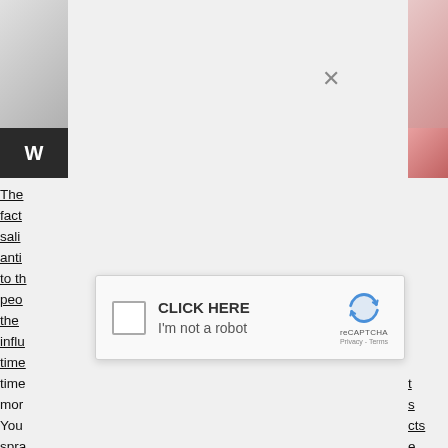[Figure (screenshot): Partial webpage screenshot showing thumbnail images on left and right edges, with a modal overlay containing a close (×) button at top and a reCAPTCHA widget below. The reCAPTCHA widget shows a checkbox, CLICK HERE / I'm not a robot text, and the reCAPTCHA logo with Privacy - Terms links. Background text is partially visible on left and right edges of the page.]
The fact sali anti to th peo the influ time any time mor You spra om's frien apar year r the s nat wal